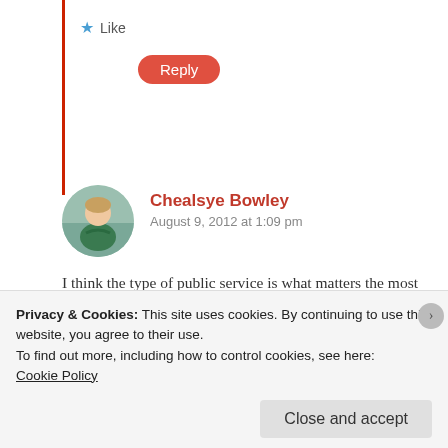★ Like
Reply
Chealsye Bowley
August 9, 2012 at 1:09 pm
I think the type of public service is what matters the most when trying to apply it to all aspiring librarians. Social work public service just isn't applicable in every library or information position as it is for public of school librarians.
A former philosophy professor let me know that his
Privacy & Cookies: This site uses cookies. By continuing to use this website, you agree to their use.
To find out more, including how to control cookies, see here:
Cookie Policy
Close and accept